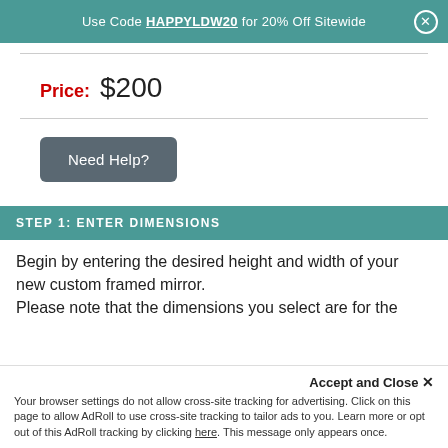Use Code HAPPYLDW20 for 20% Off Sitewide
Price: $200
Need Help?
STEP 1: ENTER DIMENSIONS
Begin by entering the desired height and width of your new custom framed mirror.
Please note that the dimensions you select are for the outside edge of the frame, including the mirror.
Accept and Close ×
Your browser settings do not allow cross-site tracking for advertising. Click on this page to allow AdRoll to use cross-site tracking to tailor ads to you. Learn more or opt out of this AdRoll tracking by clicking here. This message only appears once.